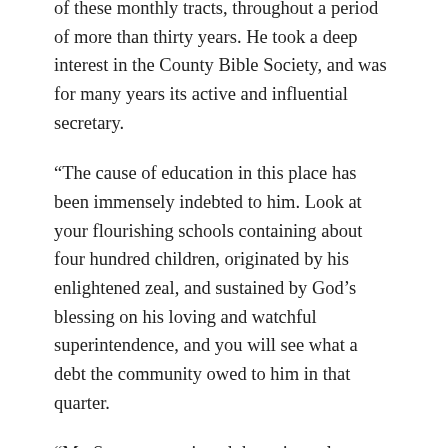of these monthly tracts, throughout a period of more than thirty years. He took a deep interest in the County Bible Society, and was for many years its active and influential secretary.
“The cause of education in this place has been immensely indebted to him. Look at your flourishing schools containing about four hundred children, originated by his enlightened zeal, and sustained by God’s blessing on his loving and watchful superintendence, and you will see what a debt the community owed to him in that quarter.
“Mr. Stevenson enjoyed the universal respect and esteem of his brethren in the ministry. Though not taking much part in the business of the higher Church courts, he felt a deep and intelligent interest in all matters of Church polity. He was a most valuable member of Presbytery, whose meetings he regularly attended, and where his sound judgment, calm temper, kindly disposition, along with a